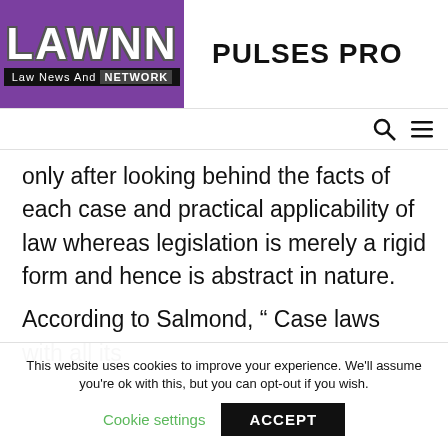[Figure (logo): LAWNN Law News And Network logo in purple background with white text, next to 'PULSES PRO' text]
only after looking behind the facts of each case and practical applicability of law whereas legislation is merely a rigid form and hence is abstract in nature.
According to Salmond, “ Case laws with all its
This website uses cookies to improve your experience. We'll assume you're ok with this, but you can opt-out if you wish.
Cookie settings   ACCEPT